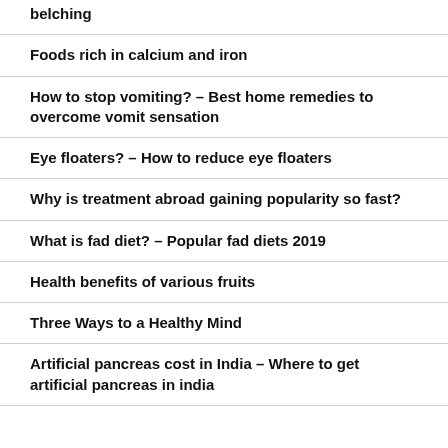belching
Foods rich in calcium and iron
How to stop vomiting? – Best home remedies to overcome vomit sensation
Eye floaters? – How to reduce eye floaters
Why is treatment abroad gaining popularity so fast?
What is fad diet? – Popular fad diets 2019
Health benefits of various fruits
Three Ways to a Healthy Mind
Artificial pancreas cost in India – Where to get artificial pancreas in india